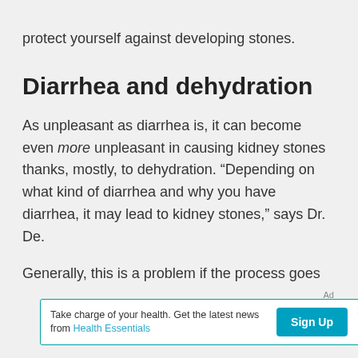protect yourself against developing stones.
Diarrhea and dehydration
As unpleasant as diarrhea is, it can become even more unpleasant in causing kidney stones thanks, mostly, to dehydration. “Depending on what kind of diarrhea and why you have diarrhea, it may lead to kidney stones,” says Dr. De.
Generally, this is a problem if the process goes
Ad
Take charge of your health. Get the latest news from Health Essentials  Sign Up